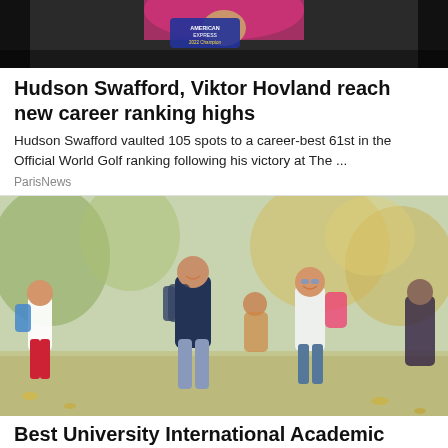[Figure (photo): Dark photo of a person holding a trophy or award with '2022 Champion' text visible, against a dark background]
Hudson Swafford, Viktor Hovland reach new career ranking highs
Hudson Swafford vaulted 105 spots to a career-best 61st in the Official World Golf ranking following his victory at The ...
ParisNews
[Figure (photo): Children running outdoors with backpacks, smiling and laughing, with trees and greenery in background]
Best University International Academic